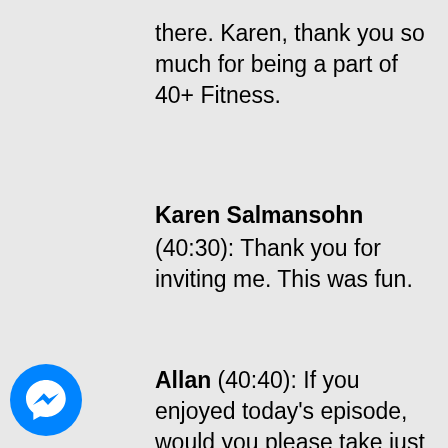there. Karen, thank you so much for being a part of 40+ Fitness.
Karen Salmansohn (40:30): Thank you for inviting me. This was fun.
Allan (40:40): If you enjoyed today's episode, would you please take just one
[Figure (logo): Facebook Messenger blue circle icon with white lightning bolt chat bubble]